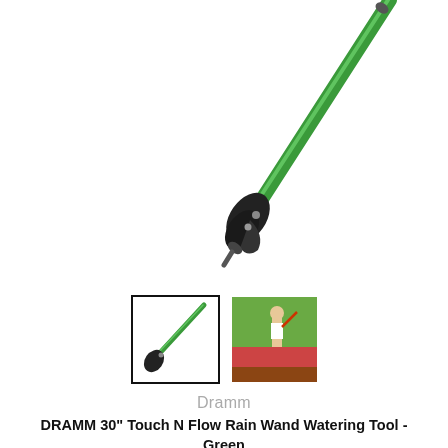[Figure (photo): A green watering wand (Dramm 30-inch Touch N Flow Rain Wand) shown diagonally with a black pistol grip handle visible, against a white background. Two yellow accent bars in top-left and top-right corners.]
[Figure (photo): Thumbnail 1: Small image of the green watering wand against white background, selected (black border).]
[Figure (photo): Thumbnail 2: Small lifestyle photo showing a person using a red garden tool outdoors.]
Dramm
DRAMM 30" Touch N Flow Rain Wand Watering Tool - Green
$64.50 AUD